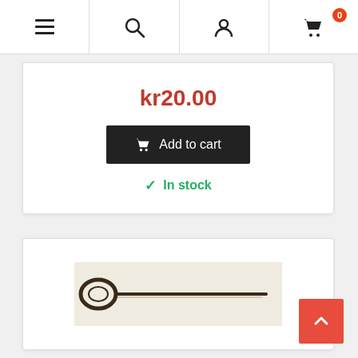Navigation bar with menu, search, user, and cart (0 items) icons
kr20.00
Add to cart
In stock
[Figure (photo): A photograph of an old-style skeleton key with an oval bow on the left and a long thin shaft extending to the right, on a light background.]